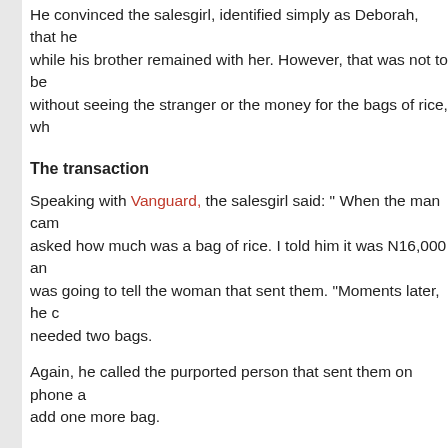He convinced the salesgirl, identified simply as Deborah, that he would go while his brother remained with her. However, that was not to be without seeing the stranger or the money for the bags of rice, wh
The transaction
Speaking with Vanguard, the salesgirl said: “ When the man came, he asked how much was a bag of rice. I told him it was N16,000 and he was going to tell the woman that sent them. “Moments later, he came back and needed two bags.
Again, he called the purported person that sent them on phone and said to add one more bag.
“After the call, he told me to help him get a tricycle that would convey them to Junction, where he claimed the owner was. He said the boy will come back to get the money.
“After waiting for close to one hour without seeing him, I told the at the said Fire Junction.
“But he said that his mother did not own a shop there and that th road and brought him to the shop.